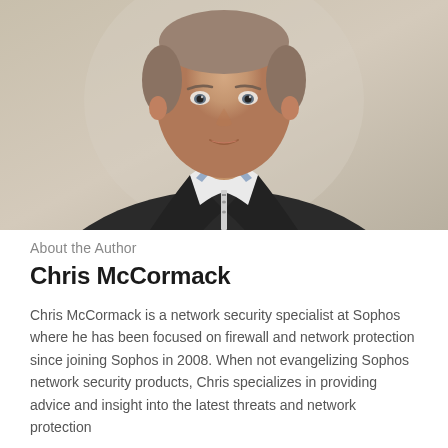[Figure (photo): Professional headshot of Chris McCormack, a man wearing a dark blazer over a white collared shirt, photographed against a blurred light background.]
About the Author
Chris McCormack
Chris McCormack is a network security specialist at Sophos where he has been focused on firewall and network protection since joining Sophos in 2008. When not evangelizing Sophos network security products, Chris specializes in providing advice and insight into the latest threats and network protection